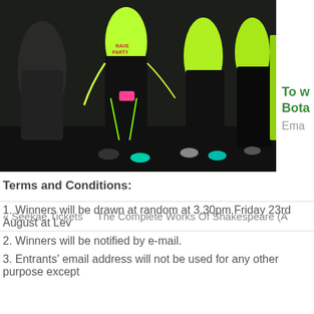[Figure (photo): Group of runners/dancers wearing neon green shirts at a nighttime event, seen from waist down, moving energetically]
To w Bota
Ema
Terms and Conditions:
1. Winners will be drawn at random at 3.30pm Friday 23rd August at Lev
2. Winners will be notified by e-mail.
3. Entrants' email address will not be used for any other purpose except
« Seekae Tickets   The Complete Works Of Shakespeare (A